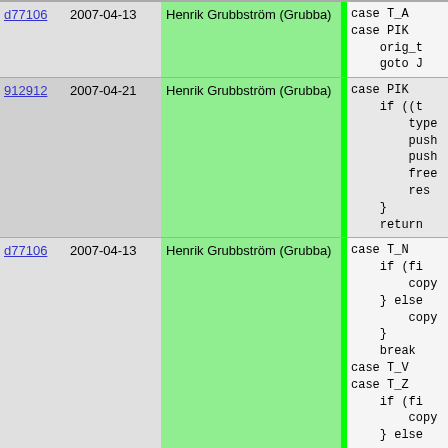| Rev | Date | Author | Code |
| --- | --- | --- | --- |
| d77106 | 2007-04-13 | Henrik Grubbström (Grubba) | case T_A
case PIK
    orig_t
    goto J |
| 912912 | 2007-04-21 | Henrik Grubbström (Grubba) | case PIK
    if ((t
        type
        push
        push
        free
        res
    }
    return |
| d77106 | 2007-04-13 | Henrik Grubbström (Grubba) | case T_N
    if (fi
        copy
    } else
        copy
    }
    break
case T_V
case T_Z
    if (fi
        copy
    } else
        copy
    }
    break |